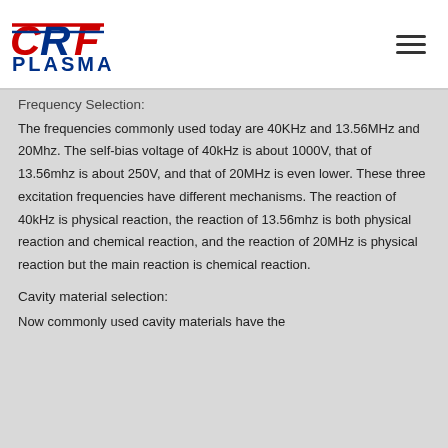CRF PLASMA
Frequency Selection:
The frequencies commonly used today are 40KHz and 13.56MHz and 20Mhz. The self-bias voltage of 40kHz is about 1000V, that of 13.56mhz is about 250V, and that of 20MHz is even lower. These three excitation frequencies have different mechanisms. The reaction of 40kHz is physical reaction, the reaction of 13.56mhz is both physical reaction and chemical reaction, and the reaction of 20MHz is physical reaction but the main reaction is chemical reaction.
Cavity material selection:
Now commonly used cavity materials have the